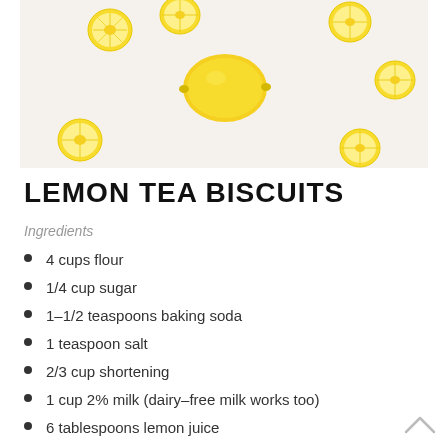[Figure (photo): Overhead photo of lemons and lemon slices scattered on a white surface]
LEMON TEA BISCUITS
Ingredients
4 cups flour
1/4 cup sugar
1–1/2 teaspoons baking soda
1 teaspoon salt
2/3 cup shortening
1 cup 2% milk (dairy–free milk works too)
6 tablespoons lemon juice